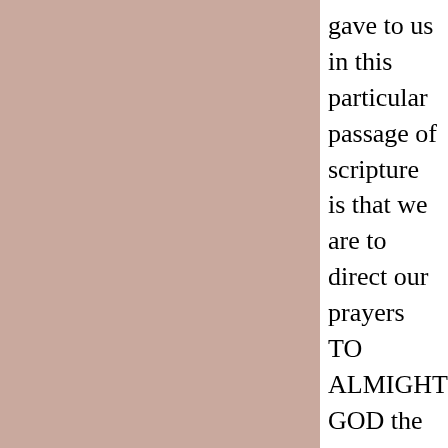gave to us in this particular passage of scripture is that we are to direct our prayers TO ALMIGHTY GOD the FATHER. To this TRUTH there can be